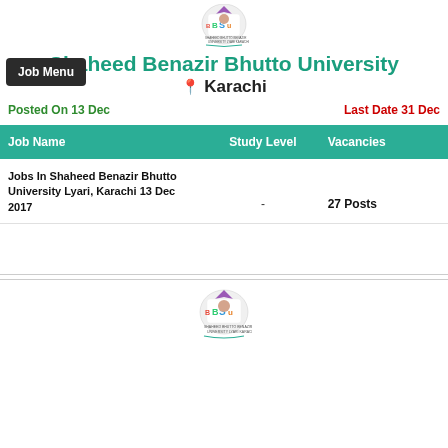[Figure (logo): Shaheed Benazir Bhutto University (SBBU/BBSUL) colorful logo with portrait and text]
Shaheed Benazir Bhutto University
Karachi
Job Menu
Posted On 13 Dec
Last Date 31 Dec
| Job Name | Study Level | Vacancies |
| --- | --- | --- |
| Jobs In Shaheed Benazir Bhutto University Lyari, Karachi 13 Dec 2017 | - | 27 Posts |
[Figure (logo): Shaheed Benazir Bhutto University (SBBU/BBSUL) colorful logo with portrait and text (bottom)]